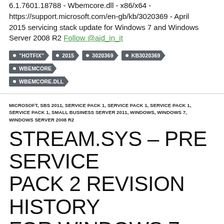6.1.7601.18788 - Wbemcore.dll - x86/x64 - https://support.microsoft.com/en-gb/kb/3020369 - April 2015 servicing stack update for Windows 7 and Windows Server 2008 R2 Follow @aid_in_it
"HOTFIX"
2015
3020369
KB3020369
WBEMCORE
WBEMCORE.DLL
MICROSOFT, SBS 2011, SERVICE PACK 1, SERVICE PACK 1, SERVICE PACK 1, SERVICE PACK 1, SMALL BUSINESS SERVER 2011, WINDOWS, WINDOWS 7, WINDOWS SERVER 2008 R2
STREAM.SYS – PRE SERVICE PACK 2 REVISION HISTORY FOR WINDOWS 7 SP1, WINDOWS SERVER 2008 R2